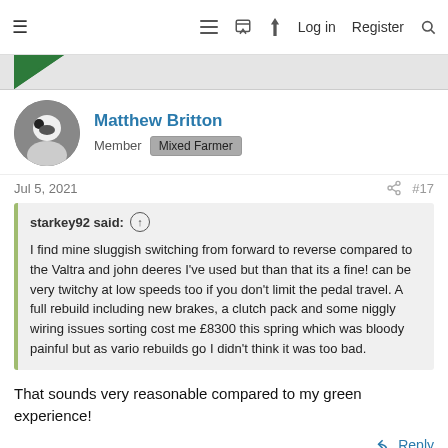≡   □  ⚡  Log in   Register  🔍
Matthew Britton
Member  Mixed Farmer
Jul 5, 2021  #17
starkey92 said: ↑

I find mine sluggish switching from forward to reverse compared to the Valtra and john deeres I've used but than that its a fine! can be very twitchy at low speeds too if you don't limit the pedal travel. A full rebuild including new brakes, a clutch pack and some niggly wiring issues sorting cost me £8300 this spring which was bloody painful but as vario rebuilds go I didn't think it was too bad.
That sounds very reasonable compared to my green experience!
Reply